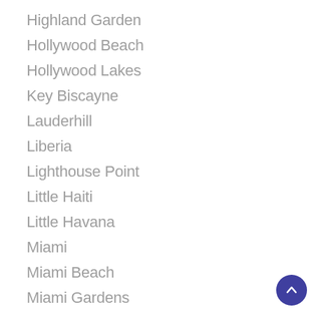Highland Garden
Hollywood Beach
Hollywood Lakes
Key Biscayne
Lauderhill
Liberia
Lighthouse Point
Little Haiti
Little Havana
Miami
Miami Beach
Miami Gardens
Miami Lakes
Miami Shores
Miami-Dade County
Mid-Beach
Model City